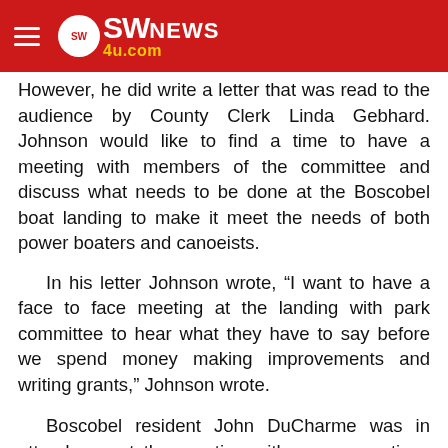SW News 4u.com
However, he did write a letter that was read to the audience by County Clerk Linda Gebhard. Johnson would like to find a time to have a meeting with members of the committee and discuss what needs to be done at the Boscobel boat landing to make it meet the needs of both power boaters and canoeists.
In his letter Johnson wrote, “I want to have a face to face meeting at the landing with park committee to hear what they have to say before we spend money making improvements and writing grants,” Johnson wrote.
Boscobel resident John DuCharme was in attendance at the meeting with some questions regarding the parking issues at the boat landing. The ideal situation in DuCharme’s eyes would be for the canoeists to be in the old boat landing on the outside of Highway 1 and the new boat ramp on the...